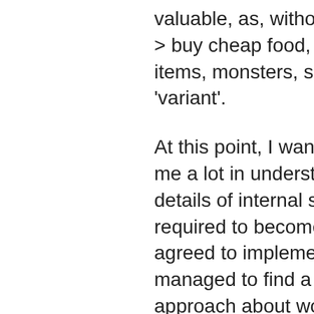valuable, as, without rework, food m > buy cheap food, repeat). So event items, monsters, shops, dungeons, 'variant'.
At this point, I want to thank PowerW me a lot in understanding how to wo details of internal stuff and introduce required to become a better place. N agreed to implement, we got differen managed to find a compromise in a approach about working separately which often happens between energ stuff which I don't like – I just do not something interesting or have an ide PWMA. Some critical stuff for Tanga PWMA – could be included as optio working on the same project (which roguelike family!)